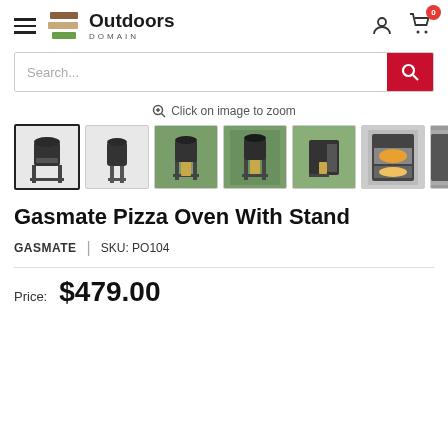[Figure (logo): Outdoors Domain logo with stacked colored bars (brown, tan, green) and bold text 'Outdoors' with 'DOMAIN' subtitle]
[Figure (screenshot): Search bar with 'Search...' placeholder and red search button with magnifying glass icon]
Click on image to zoom
[Figure (photo): Row of 7 product thumbnail images showing a Gasmate Pizza Oven With Stand from various angles, first thumbnail selected with bold border]
Gasmate Pizza Oven With Stand
GASMATE  |  SKU: PO104
Price:  $479.00